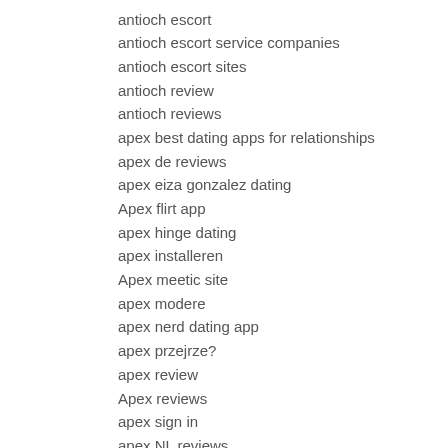antioch escort
antioch escort service companies
antioch escort sites
antioch review
antioch reviews
apex best dating apps for relationships
apex de reviews
apex eiza gonzalez dating
Apex flirt app
apex hinge dating
apex installeren
Apex meetic site
apex modere
apex nerd dating app
apex przejrze?
apex review
Apex reviews
apex sign in
apex NL reviews